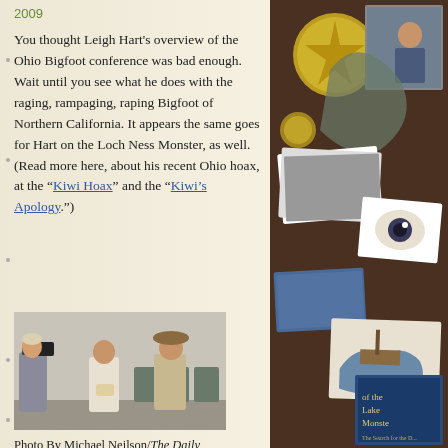2009
You thought Leigh Hart's overview of the Ohio Bigfoot conference was bad enough. Wait until you see what he does with the raging, rampaging, raping Bigfoot of Northern California. It appears the same goes for Hart on the Loch Ness Monster, as well. (Read more here, about his recent Ohio hoax, at the “Kiwi Hoax” and the “Kiwi’s Apology.”)
[Figure (photo): Photo of a man with a camera filming two other men at what appears to be an indoor event or conference]
Photo By Michael Neilson/The Daily Jeffersonian/May 4, 2009
Caption published by the Ohio
[Figure (photo): Collage of cryptozoology-related images including photographs, illustrations, coins, and book covers related to lake monsters and Bigfoot]